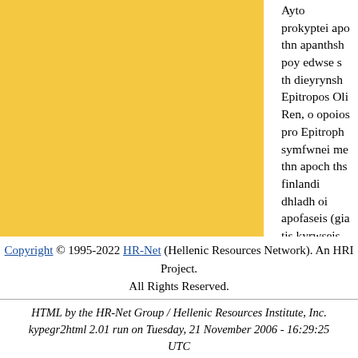Ayto prokyptei apo thn apanthsh poy edwse s th dieyrynsh Epitropos Oli Ren, o opoios pro Epitroph symfwnei me thn apoch ths finlandi dhladh oi apofaseis (gia tis kyrwseis sthn Agl Symboylio Ypoyrgwn Genikwn Ypoqesewn ( ``25") sth diarkeia ths synedrias ths 11hs Dek
O k. Ren, opws kai h proedria ths EE, krinoy akomh Synodos Koryfhs na monopwlhqei ap eixe ginei to Dekembrio toy 2004 kai 2005.
Cyprus News Agency: News in ASCII Greek Direct Article
Copyright © 1995-2022 HR-Net (Hellenic Resources Network). An HRI Project.
All Rights Reserved.
HTML by the HR-Net Group / Hellenic Resources Institute, Inc. kypegr2html 2.01 run on Tuesday, 21 November 2006 - 16:29:25 UTC